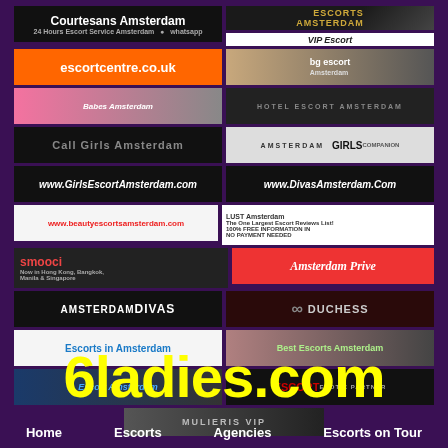[Figure (screenshot): Grid of escort agency advertisement banners for Amsterdam-based services including Courtesans Amsterdam, Paradiz Escorts Amsterdam, VIP Escort, escortcentre.co.uk, BG Escort Amsterdam, Babes Amsterdam, Hotel Escort Amsterdam, Call Girls Amsterdam, Amsterdam Girls, www.GirlsEscortAmsterdam.com, www.DivasAmsterdam.Com, www.beautyescortsamsterdam.com, Lust directory, smooci, Amsterdam Prive, Amsterdam Divas, Duchess, Escorts in Amsterdam, Best Escorts Amsterdam, Escort Amsterdam, Escort Erotic Partner, and Mulieris VIP]
6ladies.com
Home   Escorts   Agencies   Escorts on Tour